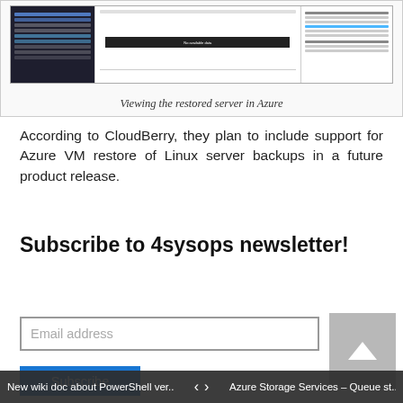[Figure (screenshot): Screenshot of Azure portal showing the restored server with left navigation panel, center content area with 'No available data' bar, and right settings panel.]
Viewing the restored server in Azure
According to CloudBerry, they plan to include support for Azure VM restore of Linux server backups in a future product release.
Subscribe to 4sysops newsletter!
Email address
Subscribe
New wiki doc about PowerShell ver... < > Azure Storage Services – Queue st...